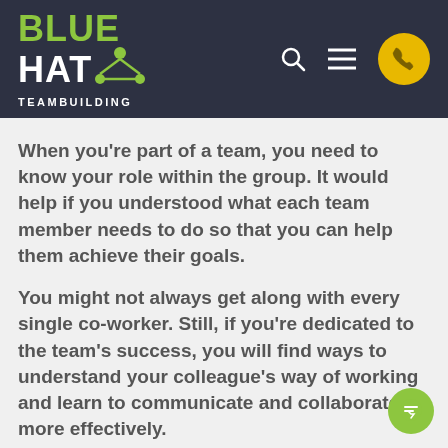[Figure (logo): Blue Hat Teambuilding logo with green BLUE text, white HAT text, molecule/network icon, and TEAMBUILDING subtitle on dark navy background, with search icon, hamburger menu icon, and yellow phone button in navigation bar]
When you're part of a team, you need to know your role within the group. It would help if you understood what each team member needs to do so that you can help them achieve their goals.
You might not always get along with every single co-worker. Still, if you're dedicated to the team's success, you will find ways to understand your colleague's way of working and learn to communicate and collaborate more effectively.